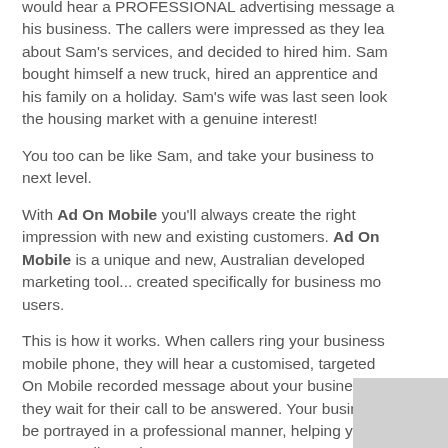would hear a PROFESSIONAL advertising message about his business. The callers were impressed as they learnt about Sam's services, and decided to hired him. Sam bought himself a new truck, hired an apprentice and took his family on a holiday. Sam's wife was last seen looking at the housing market with a genuine interest!
You too can be like Sam, and take your business to the next level.
With Ad On Mobile you'll always create the right impression with new and existing customers. Ad On Mobile is a unique and new, Australian developed marketing tool... created specifically for business mobile users.
This is how it works. When callers ring your business mobile phone, they will hear a customised, targeted Ad On Mobile recorded message about your business, while they wait for their call to be answered. Your business will be portrayed in a professional manner, helping you convert callers... into customers!